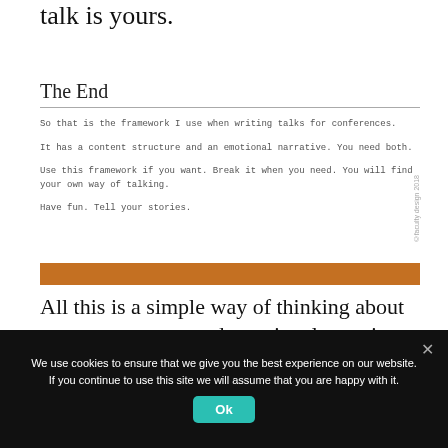talk is yours.
The End
So that is the framework I use when writing talks for conferences.
It has a content structure and an emotional narrative. You need both.
Use this framework if you want. Break it when you need. You will find your own way of talking.
Have fun. Tell your stories.
[Figure (other): Orange horizontal decorative bar]
All this is a simple way of thinking about content structure and emotional meaning
We use cookies to ensure that we give you the best experience on our website. If you continue to use this site we will assume that you are happy with it.